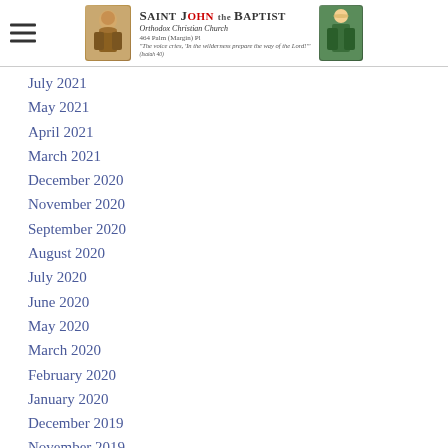Saint John the Baptist Orthodox Christian Church
July 2021
May 2021
April 2021
March 2021
December 2020
November 2020
September 2020
August 2020
July 2020
June 2020
May 2020
March 2020
February 2020
January 2020
December 2019
November 2019
October 2019
August 2019